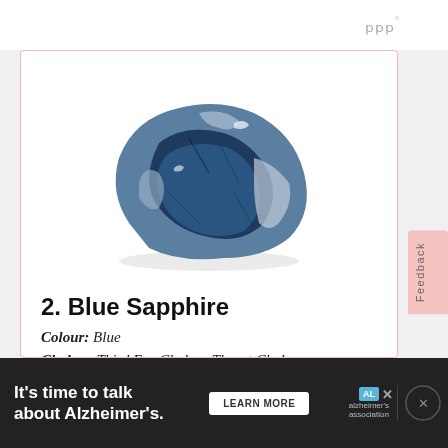[Figure (photo): A rough blue sapphire gemstone, showing deep blue and silvery-white coloration with an irregular surface texture.]
2. Blue Sapphire
Colour: Blue
Chakra: Third Eye Chakra, Throat Chakra